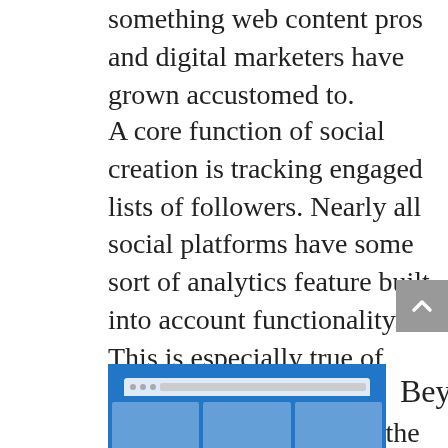something web content pros and digital marketers have grown accustomed to.
A core function of social creation is tracking engaged lists of followers. Nearly all social platforms have some sort of analytics feature built into account functionality. This is especially true of paid business accounts. Facebook’s are arguably the most thorough, and while the platform is not the purest business ecosystem, business insights seamlessly include Instagram data as well. In fact, if a company were to use just these two platforms (ill-advised), it would find the business suite to rival any major CRM.
[Figure (illustration): Blue browser window illustration showing a browser with address bar and three white column panels below.]
Beyo